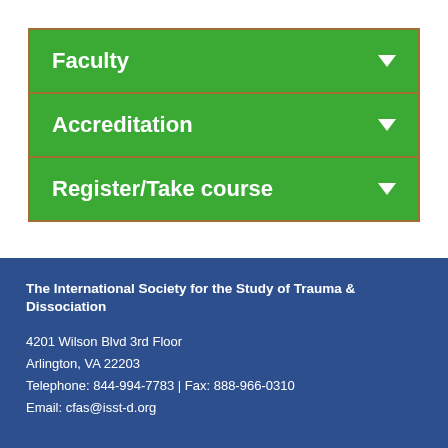Faculty
Accreditation
Register/Take course
The International Society for the Study of Trauma & Dissociation
4201 Wilson Blvd 3rd Floor
Arlington, VA 22203
Telephone: 844-994-7783 | Fax: 888-966-0310
Email: cfas@isst-d.org